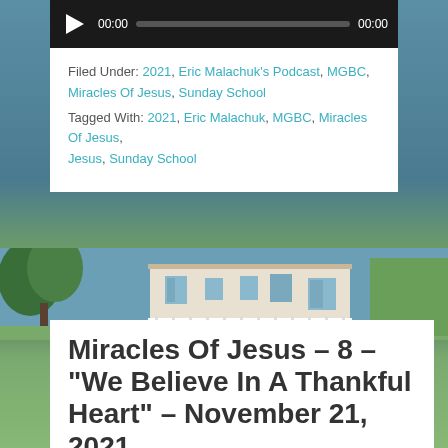[Figure (screenshot): Audio player bar with play button, time display 00:00, progress bar, and end time 00:00 on dark background]
Filed Under: 2021, Eric Malachuk's Podcast, MGBC, Miracles Of Jesus, Sunday School
Tagged With: 2021, Eric Malachuk, MGBC, Miracles Of Jesus, Sunday School
[Figure (photo): Outdoor photo showing trees, a building with white fence/railing and windows]
Miracles Of Jesus – 8 – “We Believe In A Thankful Heart” – November 21, 2021
November 21, 2021 by podcast